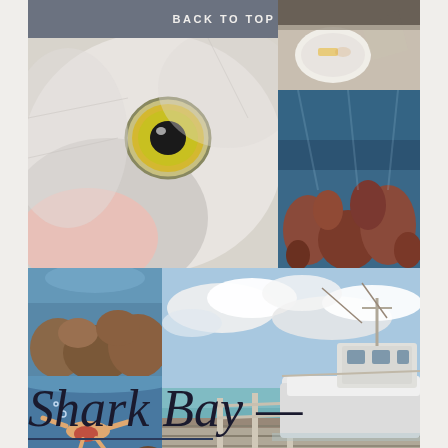BACK TO TOP
[Figure (photo): Close-up of a white pelican's eye with yellow iris]
[Figure (photo): Food plate on a table setting]
[Figure (photo): Underwater coral reef viewed from above]
[Figure (photo): Underwater coral reef scene]
[Figure (photo): Snorkeler underwater with yellow fins]
[Figure (photo): Fishing boat docked at a marina with turquoise water and cloudy sky]
Shark Bay —